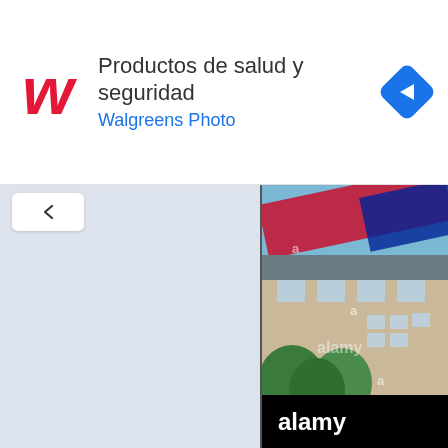[Figure (screenshot): Walgreens advertisement banner with Walgreens cursive logo, text 'Productos de salud y seguridad' and 'Walgreens Photo', and a blue diamond navigation icon on the right]
[Figure (screenshot): Mobile web interface screenshot showing a light blue-gray left panel with a chevron/back button, and on the right an Alamy stock photo of a French building with a French flag, with 'alamy' watermarks and black bar at bottom reading 'alamy']